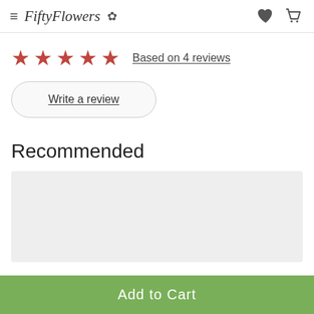FiftyFlowers
Based on 4 reviews
Write a review
Recommended
[Figure (other): Grey placeholder product image card]
Add to Cart